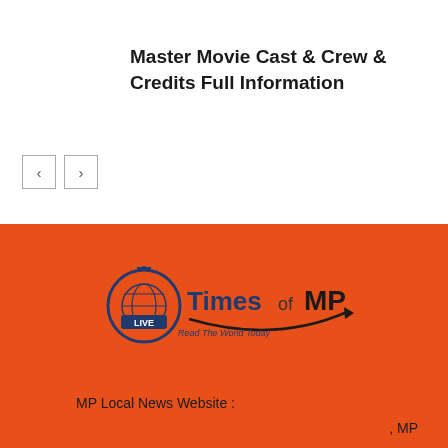Master Movie Cast & Crew & Credits Full Information
[Figure (illustration): Navigation previous/next arrow buttons]
[Figure (logo): Times of MP logo — circular clock/globe icon with LIVE badge, text 'Times of MP' and tagline 'Read The World Today' on orange background]
MP Local News Website :
, MP